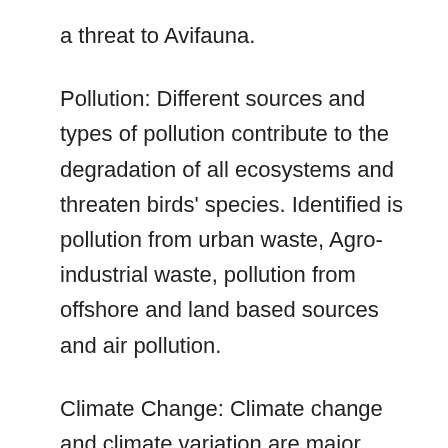a threat to Avifauna.
Pollution: Different sources and types of pollution contribute to the degradation of all ecosystems and threaten birds' species. Identified is pollution from urban waste, Agro-industrial waste, pollution from offshore and land based sources and air pollution.
Climate Change: Climate change and climate variation are major